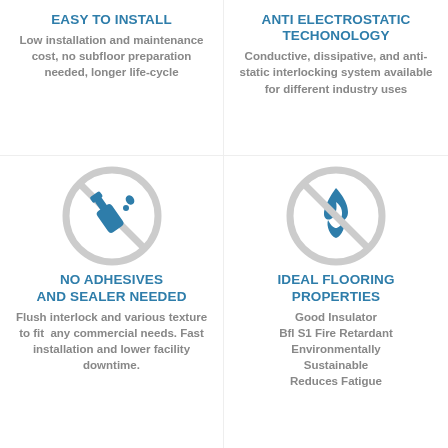EASY TO INSTALL
Low installation and maintenance cost, no subfloor preparation needed, longer life-cycle
ANTI ELECTROSTATIC TECHONOLOGY
Conductive, dissipative, and anti-static interlocking system available for different industry uses
[Figure (illustration): No adhesives icon: glue bottle with a prohibition circle crossed out in grey]
NO ADHESIVES AND SEALER NEEDED
Flush interlock and various texture to fit any commercial needs. Fast installation and lower facility downtime.
[Figure (illustration): No fire icon: flame with a prohibition circle crossed out in grey]
IDEAL FLOORING PROPERTIES
Good Insulator
Bfl S1 Fire Retardant
Environmentally Sustainable
Reduces Fatigue